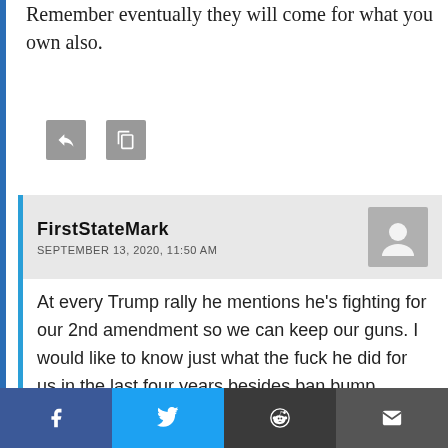Remember eventually they will come for what you own also.
[Figure (other): Two small icon buttons (reply and edit/save icons) in gray square buttons]
FirstStateMark
SEPTEMBER 13, 2020, 11:50 AM
[Figure (other): Gray avatar/profile placeholder icon]
At every Trump rally he mentions he's fighting for our 2nd amendment so we can keep our guns. I would like to know just what the fuck he did for us in the last four years besides ban bump stocks? He ran on a country wide reciprocity for CCDW while he had a republican house and [first] two years. What the hell [happened]!? You're right. He lost
f  [Twitter bird]  [Reddit alien]  [Email envelope]